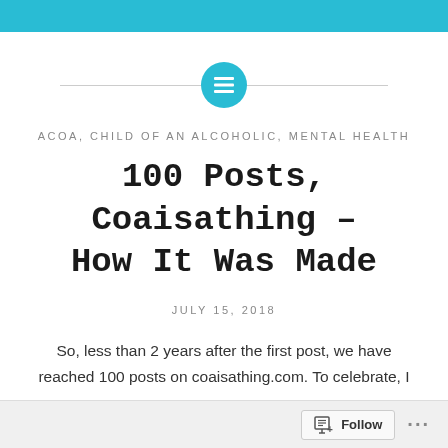[Figure (other): Teal circular icon with horizontal lines (menu/content icon), centered with a thin horizontal divider line behind it]
ACOA, CHILD OF AN ALCOHOLIC, MENTAL HEALTH
100 Posts, Coaisathing – How It Was Made
JULY 15, 2018
So, less than 2 years after the first post, we have reached 100 posts on coaisathing.com. To celebrate, I
Follow ...